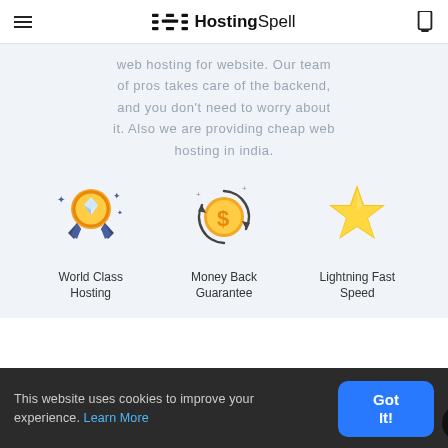HostingSpell
web hosting for website. Our team of pros takes care of the backend, and you don't need to worry about it. Also we are providing cheap web hosting in india.
[Figure (illustration): World Class Hosting icon - medal/award with diamond gem and sparkles]
World Class Hosting
[Figure (illustration): Money Back Guarantee icon - dollar coin with circular arrows]
Money Back Guarantee
[Figure (illustration): Lightning Fast Speed icon - golden star]
Lightning Fast Speed
This website uses cookies to improve your experience. Learn More